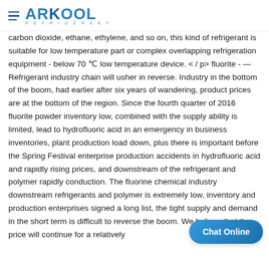ARKOOL REFRIGERANT
carbon dioxide, ethane, ethylene, and so on, this kind of refrigerant is suitable for low temperature part or complex overlapping refrigeration equipment - below 70 ℃ low temperature device. < / p> fluorite - — Refrigerant industry chain will usher in reverse. Industry in the bottom of the boom, had earlier after six years of wandering, product prices are at the bottom of the region. Since the fourth quarter of 2016 fluorite powder inventory low, combined with the supply ability is limited, lead to hydrofluoric acid in an emergency in business inventories, plant production load down, plus there is important before the Spring Festival enterprise production accidents in hydrofluoric acid and rapidly rising prices, and downstream of the refrigerant and polymer rapidly conduction. The fluorine chemical industry downstream refrigerants and polymer is extremely low, inventory and production enterprises signed a long list, the tight supply and demand in the short term is difficult to reverse the boom. We believe that the price will continue for a relatively